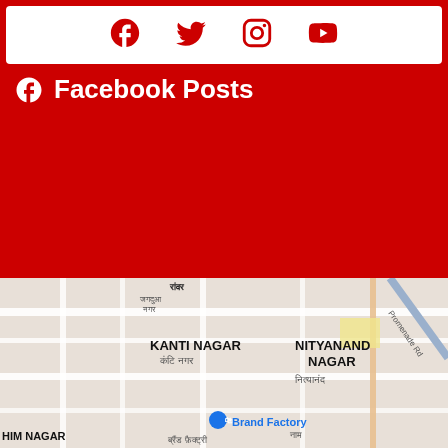[Figure (infographic): Social media icons: Facebook, Twitter, Instagram, YouTube displayed in red on white background]
Facebook Posts
[Figure (map): Google Maps screenshot showing Kanti Nagar, Nityanand Nagar area with Brand Factory location marked, text in Hindi and English]